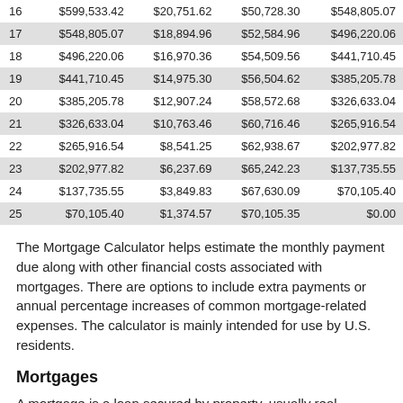| 16 | $599,533.42 | $20,751.62 | $50,728.30 | $548,805.07 |
| 17 | $548,805.07 | $18,894.96 | $52,584.96 | $496,220.06 |
| 18 | $496,220.06 | $16,970.36 | $54,509.56 | $441,710.45 |
| 19 | $441,710.45 | $14,975.30 | $56,504.62 | $385,205.78 |
| 20 | $385,205.78 | $12,907.24 | $58,572.68 | $326,633.04 |
| 21 | $326,633.04 | $10,763.46 | $60,716.46 | $265,916.54 |
| 22 | $265,916.54 | $8,541.25 | $62,938.67 | $202,977.82 |
| 23 | $202,977.82 | $6,237.69 | $65,242.23 | $137,735.55 |
| 24 | $137,735.55 | $3,849.83 | $67,630.09 | $70,105.40 |
| 25 | $70,105.40 | $1,374.57 | $70,105.35 | $0.00 |
The Mortgage Calculator helps estimate the monthly payment due along with other financial costs associated with mortgages. There are options to include extra payments or annual percentage increases of common mortgage-related expenses. The calculator is mainly intended for use by U.S. residents.
Mortgages
A mortgage is a loan secured by property, usually real